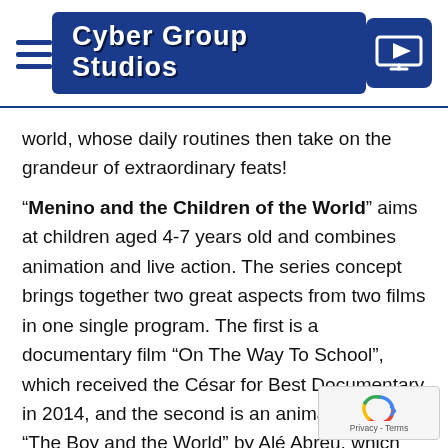Cyber Group Studios
world, whose daily routines then take on the grandeur of extraordinary feats!
“Menino and the Children of the World” aims at children aged 4-7 years old and combines animation and live action. The series concept brings together two great aspects from two films in one single program. The first is a documentary film “On The Way To School”, which received the César for Best Documentary in 2014, and the second is an animated film, “The Boy and the World” by Alé Abreu, which received multiple awards such as the Cris